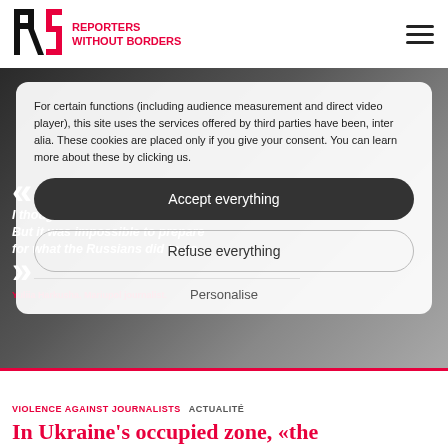RSF REPORTERS WITHOUT BORDERS
[Figure (screenshot): Cookie consent overlay on RSF website with hero background image showing a person's face]
For certain functions (including audience measurement and direct video player), this site uses the services offered by third parties have been, inter alia. These cookies are placed only if you give your consent. You can learn more about these by clicking us.
« I thought I had seen it all. But it was impossible to prepare for what the Russians did to us. »
Yuliia Harkusha, Mariupol journalist.
Accept everything
Refuse everything
Personalise
VIOLENCE AGAINST JOURNALISTS  ACTUALITÉ
In Ukraine's occupied zone, «the